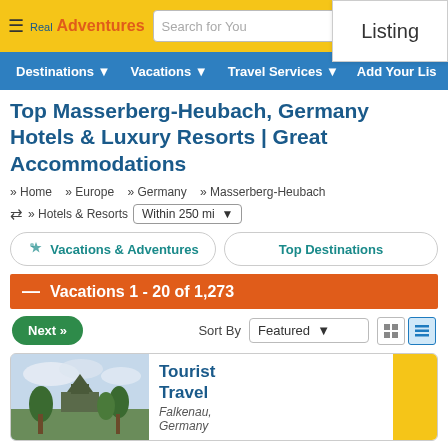Real Adventures — Listing
Destinations | Vacations | Travel Services | Add Your Listing
Top Masserberg-Heubach, Germany Hotels & Luxury Resorts | Great Accommodations
» Home  » Europe  » Germany  » Masserberg-Heubach  » Hotels & Resorts  Within 250 mi
Vacations & Adventures   Top Destinations
— Vacations 1 - 20 of 1,273
Next »  Sort By  Featured
Tourist Travel  Falkenau, Germany